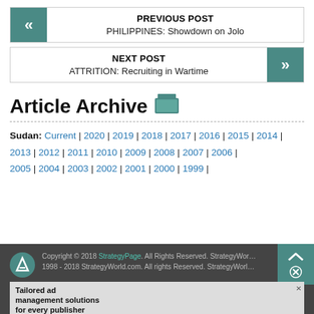PREVIOUS POST | PHILIPPINES: Showdown on Jolo
NEXT POST | ATTRITION: Recruiting in Wartime
Article Archive
Sudan: Current | 2020 | 2019 | 2018 | 2017 | 2016 | 2015 | 2014 | 2013 | 2012 | 2011 | 2010 | 2009 | 2008 | 2007 | 2006 | 2005 | 2004 | 2003 | 2002 | 2001 | 2000 | 1999 |
Copyright © 2018 StrategyPage. All Rights Reserved. StrategyWorld.com, 1998 - 2018 StrategyWorld.com. All rights reserved. StrategyWorld.com